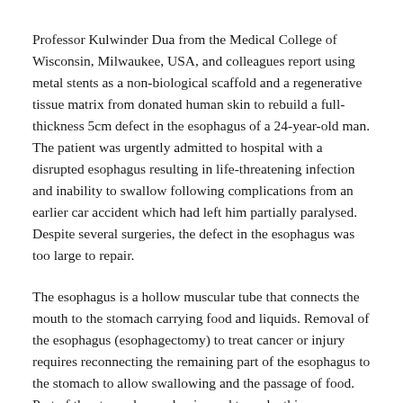Professor Kulwinder Dua from the Medical College of Wisconsin, Milwaukee, USA, and colleagues report using metal stents as a non-biological scaffold and a regenerative tissue matrix from donated human skin to rebuild a full-thickness 5cm defect in the esophagus of a 24-year-old man. The patient was urgently admitted to hospital with a disrupted esophagus resulting in life-threatening infection and inability to swallow following complications from an earlier car accident which had left him partially paralysed. Despite several surgeries, the defect in the esophagus was too large to repair.
The esophagus is a hollow muscular tube that connects the mouth to the stomach carrying food and liquids. Removal of the esophagus (esophagectomy) to treat cancer or injury requires reconnecting the remaining part of the esophagus to the stomach to allow swallowing and the passage of food. Part of the stomach or colon is used to make this connection. However, the procedure was not possible in this case because the defect in the esophagus was too large, and the patient too ill to undergo the procedure.
The team hypothesized that if the three-dimensional shape of the esophagus could be maintained in its natural environment for an extended period of time, with the right biological and mechanical cues, regeneration may occur.